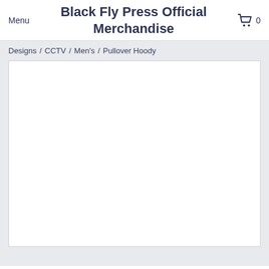Menu   Black Fly Press Official Merchandise   0
Designs / CCTV / Men's / Pullover Hoody
[Figure (other): White product image area (blank/loading) for a Pullover Hoody from CCTV design line]